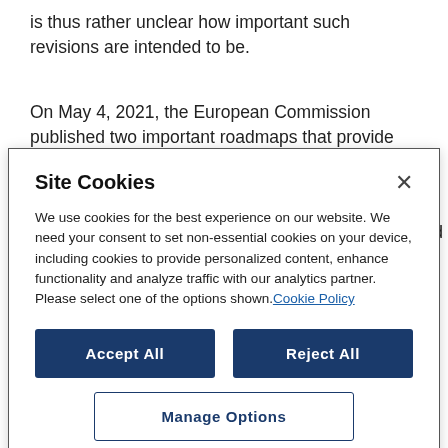is thus rather unclear how important such revisions are intended to be.
On May 4, 2021, the European Commission published two important roadmaps that provide insights on the
Site Cookies
We use cookies for the best experience on our website. We need your consent to set non-essential cookies on your device, including cookies to provide personalized content, enhance functionality and analyze traffic with our analytics partner. Please select one of the options shown. Cookie Policy